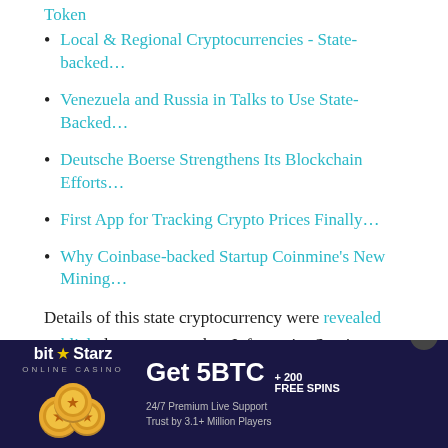Token
Local & Regional Cryptocurrencies - State-backed…
Venezuela and Russia in Talks to Use State-Backed…
Deutsche Boerse Strengthens Its Blockchain Efforts…
First App for Tracking Crypto Prices Finally…
Why Coinbase-backed Startup Coinmine's New Mining…
Details of this state cryptocurrency were revealed publicly last summer when Informatics Services Corporation (ISC), an affiliated entity of the Central Bank of Iran talked about its attributes.
A local banking-focused news outlet reported that the crypto
[Figure (infographic): BitStarz Online Casino advertisement banner. Dark navy background. Left side shows BitStarz logo with star icon and coin graphics. Right side shows promotional text: Get 5BTC + 200 FREE SPINS, 24/7 Premium Live Support, Trust by 3.1+ Million Players.]